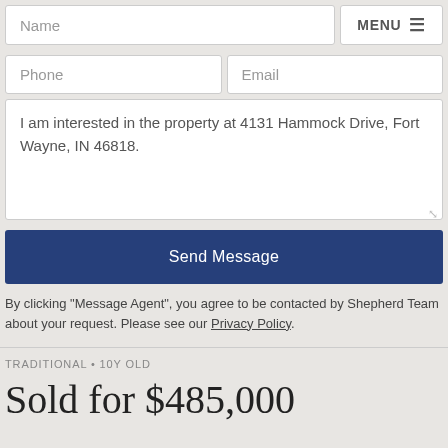Name
MENU
Phone
Email
I am interested in the property at 4131 Hammock Drive, Fort Wayne, IN 46818.
Send Message
By clicking "Message Agent", you agree to be contacted by Shepherd Team about your request. Please see our Privacy Policy.
TRADITIONAL • 10Y OLD
Sold for $485,000